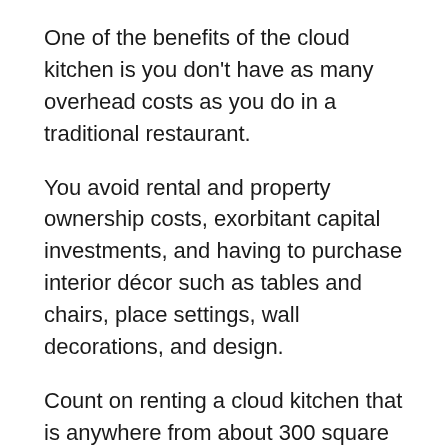One of the benefits of the cloud kitchen is you don't have as many overhead costs as you do in a traditional restaurant.
You avoid rental and property ownership costs, exorbitant capital investments, and having to purchase interior décor such as tables and chairs, place settings, wall decorations, and design.
Count on renting a cloud kitchen that is anywhere from about 300 square feet to 1200 square feet to prepare your food items.
You simply create your menu, arrange for delivery options, move into your cloud kitchen, stock up on food, and start taking orders.
Another cost you might take into consideration is your